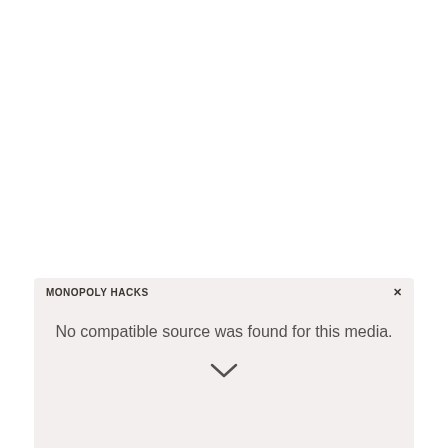[Figure (screenshot): Video player overlay panel at the bottom of a mostly white page. The panel has a light pinkish-gray background and shows a header 'MONOPOLY HACKS', a close button (X), a message 'No compatible source was found for this media.', and a downward chevron arrow at the bottom.]